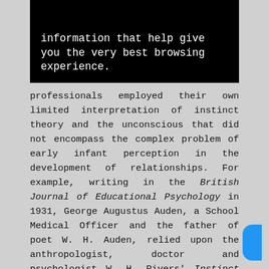[Figure (screenshot): Black banner with white text: 'information that help give you the very best browsing experience.']
professionals employed their own limited interpretation of instinct theory and the unconscious that did not encompass the complex problem of early infant perception in the development of relationships. For example, writing in the British Journal of Educational Psychology in 1931, George Augustus Auden, a School Medical Officer and the father of poet W. H. Auden, relied upon the anthropologist, doctor and psychologist W. H. Rivers' Instinct and the Unconscious (1920) and Freud's Introductory Lectures on Psychoanalysis in order to explain the means by which children developed conflicts between unbridled instinctive drives of 'the pleasure principle' and reality that led